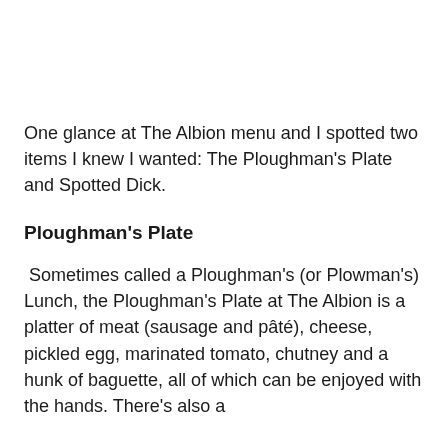One glance at The Albion menu and I spotted two items I knew I wanted: The Ploughman's Plate and Spotted Dick.
Ploughman's Plate
Sometimes called a Ploughman's (or Plowman's) Lunch, the Ploughman's Plate at The Albion is a platter of meat (sausage and pâté), cheese, pickled egg, marinated tomato, chutney and a hunk of baguette, all of which can be enjoyed with the hands. There's also a